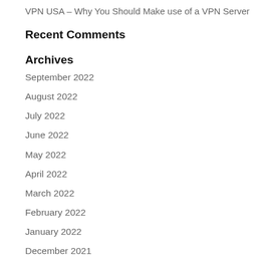VPN USA – Why You Should Make use of a VPN Server
Recent Comments
Archives
September 2022
August 2022
July 2022
June 2022
May 2022
April 2022
March 2022
February 2022
January 2022
December 2021